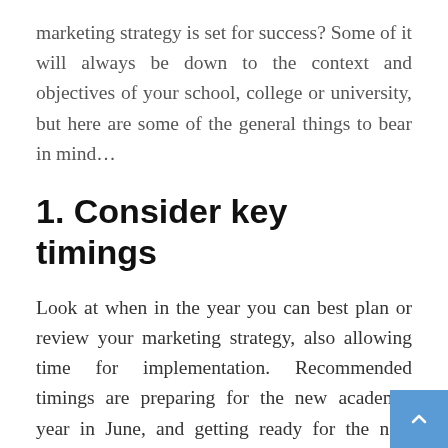marketing strategy is set for success? Some of it will always be down to the context and objectives of your school, college or university, but here are some of the general things to bear in mind…
1. Consider key timings
Look at when in the year you can best plan or review your marketing strategy, also allowing time for implementation. Recommended timings are preparing for the new academic year in June, and getting ready for the new financial year and spring term in November.
Regardless of your budget, setting aside time at critical points in the year to work on your marketing strategy will help you generate demand that leads